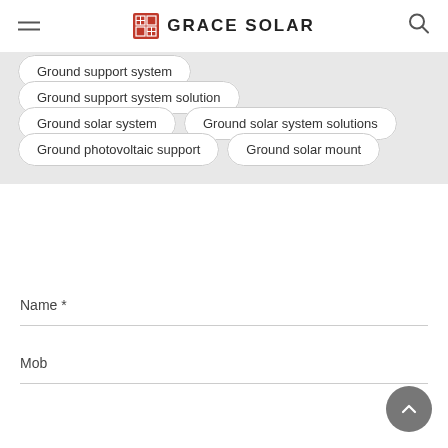GRACE SOLAR
Ground support system
Ground support system solution
Ground solar system
Ground solar system solutions
Ground photovoltaic support
Ground solar mount
Name *
Mob